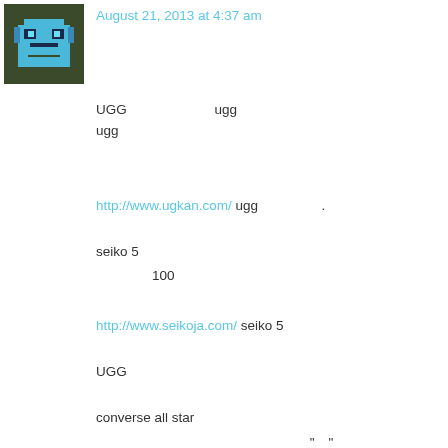[Figure (illustration): Pixel art avatar icon — dark green/army background with a blue pixel robot/alien face]
August 21, 2013 at 4:37 am
UGG[CJK] ugg [CJK] [CJK] ugg [CJK] [CJK] [CJK] [CJK] [CJK] [CJK] [CJK] [CJK] http://www.ugkan.com/ ugg [CJK] [CJK] [CJK] [CJK] seiko 5 [CJK] 100[CJK] [CJK] [CJK] [CJK] [CJK] [CJK] [CJK] http://www.seikoja.com/ seiko 5 [CJK] [CJK] [CJK] [CJK] UGG[CJK] [CJK] [CJK] [CJK] converse all star [CJK] [CJK] [CJK]"[CJK]"[CJK] http://www.thebadstranger.com/ [CJK] [CJK] [CJK] [CJK] "[CJK]" [CJK] 100[CJK] vivienne westwood [CJK] [CJK]